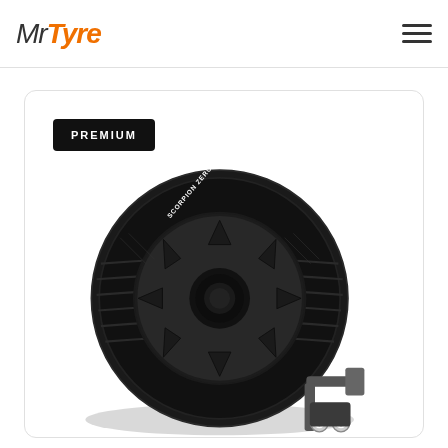Mr Tyre
PREMIUM
[Figure (photo): Pirelli Scorpion Zero tyre on a black alloy wheel, shown at an angle with a tyre fitting machine in the background]